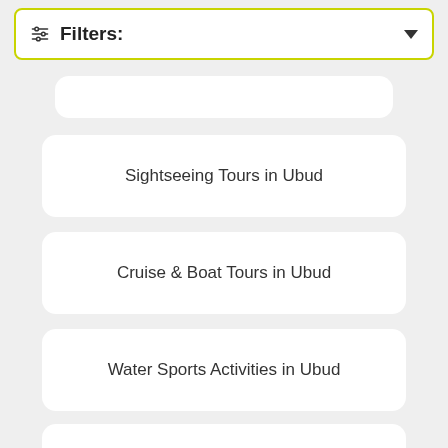Filters:
Sightseeing Tours in Ubud
Cruise & Boat Tours in Ubud
Water Sports Activities in Ubud
Kayaking & Canoeing in Ubud